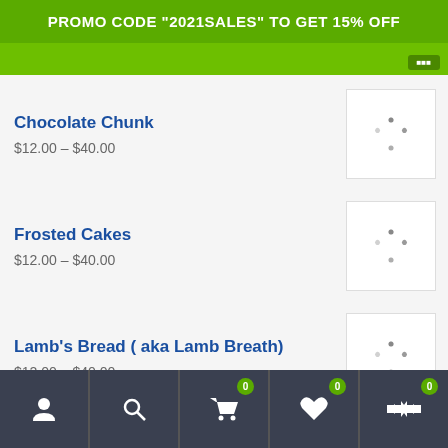PROMO CODE "2021SALES" TO GET 15% OFF
Chocolate Chunk
$12.00 – $40.00
Frosted Cakes
$12.00 – $40.00
Lamb's Bread ( aka Lamb Breath)
$12.00 – $40.00
Peanut Butter Breath Clones
User | Search | Cart 0 | Wishlist 0 | Compare 0